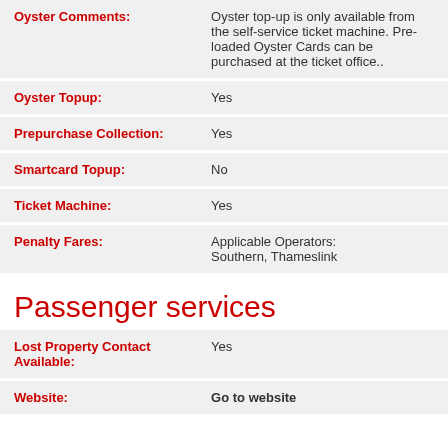| Field | Value |
| --- | --- |
| Oyster Comments: | Oyster top-up is only available from the self-service ticket machine. Pre-loaded Oyster Cards can be purchased at the ticket office.. |
| Oyster Topup: | Yes |
| Prepurchase Collection: | Yes |
| Smartcard Topup: | No |
| Ticket Machine: | Yes |
| Penalty Fares: | Applicable Operators: Southern, Thameslink |
Passenger services
| Field | Value |
| --- | --- |
| Lost Property Contact Available: | Yes |
| Website: | Go to website |